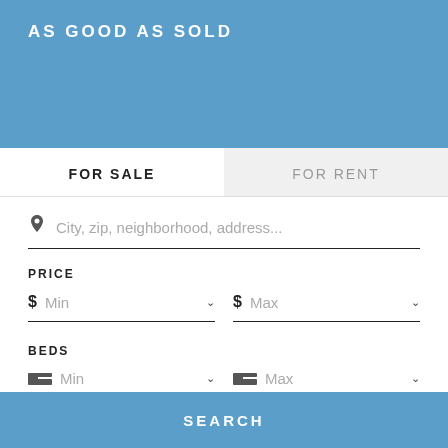AS GOOD AS SOLD
FOR SALE
FOR RENT
City, zip, neighborhood, address...
PRICE
$ Min
$ Max
BEDS
Min
Max
MORE FILTERS
SAVE SEARCH
SEARCH